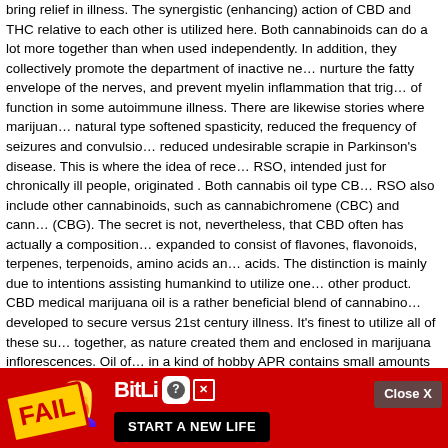bring relief in illness. The synergistic (enhancing) action of CBD and THC relative to each other is utilized here. Both cannabinoids can do a lot more together than when used independently. In addition, they collectively promote the department of inactive nerve cells, nurture the fatty envelope of the nerves, and prevent myelin inflammation that triggers loss of function in some autoimmune illness. There are likewise stories where marijuana in its natural type softened spasticity, reduced the frequency of seizures and convulsions, and reduced undesirable scrapie in Parkinson's disease. This is where the idea of receiving RSO, intended just for chronically ill people, originated . Both cannabis oil type CBD and RSO also include other cannabinoids, such as cannabichromene (CBC) and cannabigerol (CBG). The secret is not, nevertheless, that CBD often has actually a composition expanded to consist of flavones, flavonoids, terpenes, terpenoids, amino acids and fatty acids. The distinction is mainly due to intentions assisting humankind to utilize one or the other product. CBD medical marijuana oil is a rather beneficial blend of cannabinoids, developed to secure versus 21st century illness. It's finest to utilize all of these substances together, as nature created them and enclosed in marijuana inflorescences. Oil of cannabis in a kind of hobby APR contains small amounts of CBD, balanced by the presence of THC. – Modern scientific research study reveals that CBD + THC cope with major autoimmune diseases, while CBC or CBG reveal minimal activity in the presence of both substances, simply like flavonoids, flavones or terpenes, therefore their material in the option appears to be unnecessary. In addition, the marijuana strain from which THC and CBD are obtained include negligible quantities of other cannabinoids. Marijuana oil has already marked a new period in which guy ceased to fear what is unknown, and began to rediscover what our ancestors had actually currently noticed and use the significant capacity, in the beginning a glance, a little unusual relationships, associated primarily with pathology. Medical cannabis, contrary to its name, does not mean fermented female inflorescences and leaves including psychedelic substances coiled in so-called "Joints", but an advantageous oil without psychoactive THC. A basic individual, after taking dosages of medicinal cannabis and attaining the proper state of cannabinoids in the blood, can take pleasure in increased immunity, minimized susceptibility to cancer, postponed aging and lowered threat of stroke or heart attack.
[Figure (other): Advertisement overlay: Close X button and BitLife game advertisement banner with red background, animated character, FAIL badge, flame graphic, BitLife logo, question mark icon, X close button, and 'START A NEW LIFE' button.]